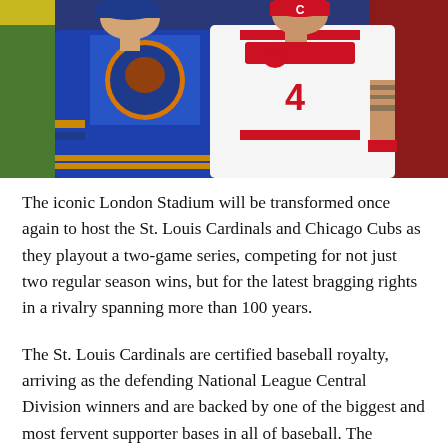[Figure (photo): Two baseball players standing together — one in a Chicago Cubs blue jersey and one in a St. Louis Cardinals white jersey with number 4]
The iconic London Stadium will be transformed once again to host the St. Louis Cardinals and Chicago Cubs as they playout a two-game series, competing for not just two regular season wins, but for the latest bragging rights in a rivalry spanning more than 100 years.
The St. Louis Cardinals are certified baseball royalty, arriving as the defending National League Central Division winners and are backed by one of the biggest and most fervent supporter bases in all of baseball. The opposition, the Chicago Cubs captured the world's imagination in